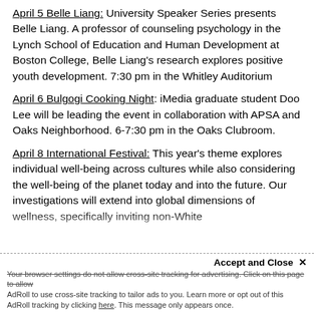April 5 Belle Liang: University Speaker Series presents Belle Liang. A professor of counseling psychology in the Lynch School of Education and Human Development at Boston College, Belle Liang's research explores positive youth development. 7:30 pm in the Whitley Auditorium
April 6 Bulgogi Cooking Night: iMedia graduate student Doo Lee will be leading the event in collaboration with APSA and Oaks Neighborhood. 6-7:30 pm in the Oaks Clubroom.
April 8 International Festival: This year's theme explores individual well-being across cultures while also considering the well-being of the planet today and into the future. Our investigations will extend into global dimensions of wellness, specifically inviting non-White...
Accept and Close ×
Your browser settings do not allow cross-site tracking for advertising. Click on this page to allow AdRoll to use cross-site tracking to tailor ads to you. Learn more or opt out of this AdRoll tracking by clicking here. This message only appears once.